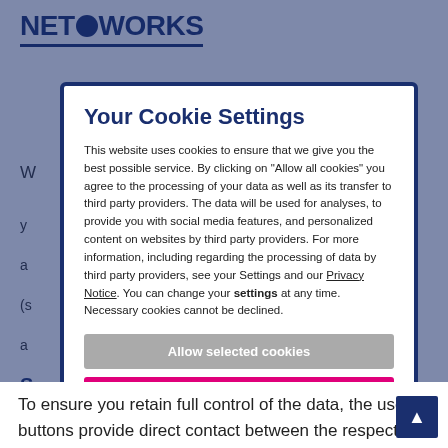NetWorks
Your Cookie Settings
This website uses cookies to ensure that we give you the best possible service. By clicking on “Allow all cookies” you agree to the processing of your data as well as its transfer to third party providers. The data will be used for analyses, to provide you with social media features, and personalized content on websites by third party providers. For more information, including regarding the processing of data by third party providers, see your Settings and our Privacy Notice. You can change your settings at any time. Necessary cookies cannot be declined.
Allow selected cookies
Allow all cookies
Necessary   Preferences   Settings
Analytical cookies   Independent third parties
To ensure you retain full control of the data, the use buttons provide direct contact between the respective